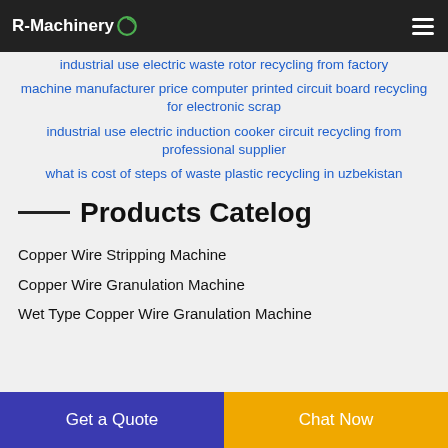R-Machinery
industrial use electric waste rotor recycling from factory
machine manufacturer price computer printed circuit board recycling for electronic scrap
industrial use electric induction cooker circuit recycling from professional supplier
what is cost of steps of waste plastic recycling in uzbekistan
Products Catelog
Copper Wire Stripping Machine
Copper Wire Granulation Machine
Wet Type Copper Wire Granulation Machine